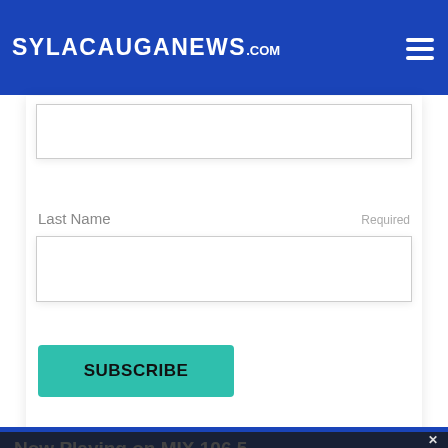SylacaugaNews.com
Last Name  Required
SUBSCRIBE
Now Playing on MIX 106.5
[Figure (photo): Album art for Hotel California by Eagles - dark silhouette of palm trees against a golden/orange sky]
Hotel California
Eagles
Hotel California